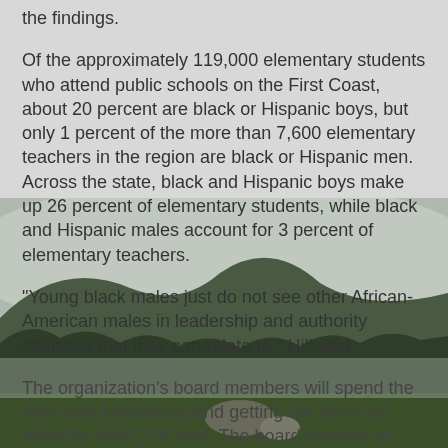the findings.
Of the approximately 119,000 elementary students who attend public schools on the First Coast, about 20 percent are black or Hispanic boys, but only 1 percent of the more than 7,600 elementary teachers in the region are black or Hispanic men. Across the state, black and Hispanic boys make up 26 percent of elementary students, while black and Hispanic males account for 3 percent of elementary teachers.
"Young black males just do not see other African-American males in leadership and authority positions that they can relate to," Hill said.
The organization's board members will spend the next year fundraising and getting the word out about its effort, Hill said. The board consists of physicians, business leaders and educators.
Breaking the cycle